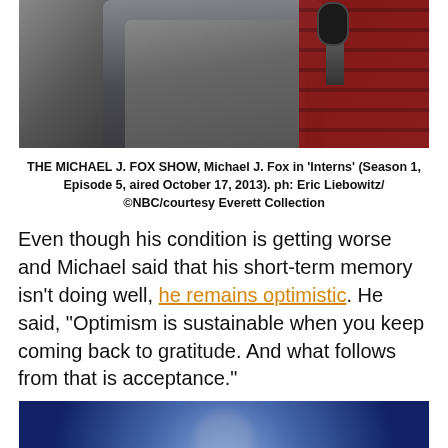[Figure (photo): Man in gray suit jacket speaking into a microphone in a recording studio with red acoustic foam panels in the background]
THE MICHAEL J. FOX SHOW, Michael J. Fox in 'Interns' (Season 1, Episode 5, aired October 17, 2013). ph: Eric Liebowitz/©NBC/courtesy Everett Collection
Even though his condition is getting worse and Michael said that his short-term memory isn't doing well, he remains optimistic. He said, "Optimism is sustainable when you keep coming back to gratitude. And what follows from that is acceptance."
[Figure (photo): Blurred image of a person at an event with blue lighting in the background]